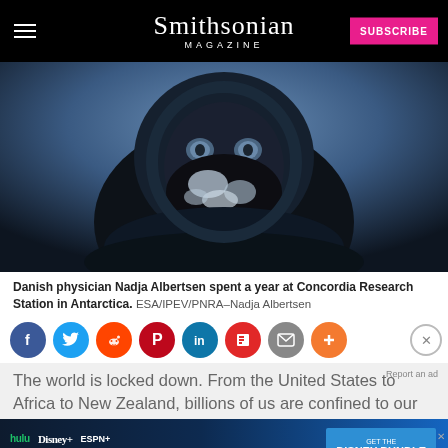Smithsonian MAGAZINE | SUBSCRIBE
[Figure (photo): Close-up portrait of a person wearing cold-weather gear including a dark face mask covered in frost/snow, goggles or hood, against a blue-grey wintry background. The person appears to be at an Antarctic research station.]
Danish physician Nadja Albertsen spent a year at Concordia Research Station in Antarctica. ESA/IPEV/PNRA–Nadja Albertsen
[Figure (infographic): Row of social sharing icons: Facebook (blue), Twitter (light blue), Reddit (orange), Pinterest (red), LinkedIn (dark teal), Flipboard (red), Email (grey), Plus/More (orange)]
The world is locked down. From the United States to Africa to New Zealand, billions of us are confined to our
[Figure (screenshot): Disney Bundle advertisement banner showing Hulu, Disney+, and ESPN+ logos with text 'GET THE DISNEY BUNDLE'. Fine print: Incl. Hulu (ad-supported) or Hulu (No Ads). Access content from each service separately. ©2021 Disney and its related entities.]